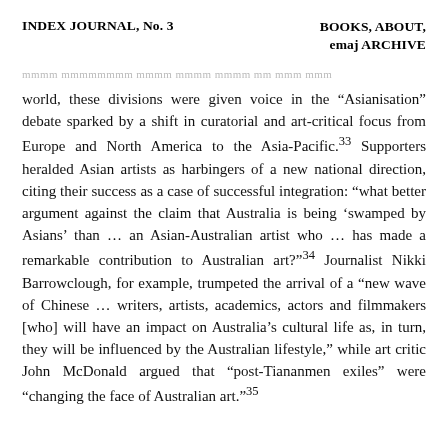INDEX JOURNAL, No. 3  BOOKS, ABOUT, emaj ARCHIVE
world, these divisions were given voice in the “Asianisation” debate sparked by a shift in curatorial and art-critical focus from Europe and North America to the Asia-Pacific.³³ Supporters heralded Asian artists as harbingers of a new national direction, citing their success as a case of successful integration: “what better argument against the claim that Australia is being ‘swamped by Asians’ than … an Asian-Australian artist who … has made a remarkable contribution to Australian art?”³⁴ Journalist Nikki Barrowclough, for example, trumpeted the arrival of a “new wave of Chinese … writers, artists, academics, actors and filmmakers [who] will have an impact on Australia’s cultural life as, in turn, they will be influenced by the Australian lifestyle,” while art critic John McDonald argued that “post-Tiananmen exiles” were “changing the face of Australian art.”³⁵